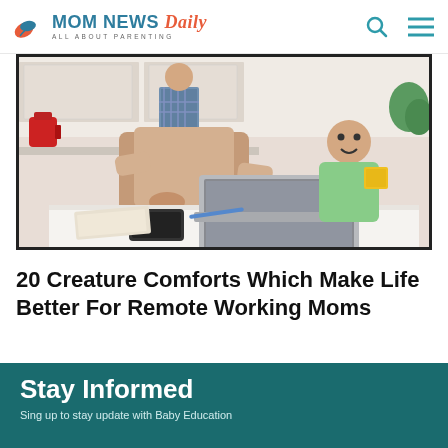MOM NEWS Daily — ALL ABOUT PARENTING
[Figure (photo): Woman working on laptop at kitchen table with a young child beside her smiling, another person visible in the background near kitchen appliances]
20 Creature Comforts Which Make Life Better For Remote Working Moms
Stay Informed
Sing up to stay update with Baby Education